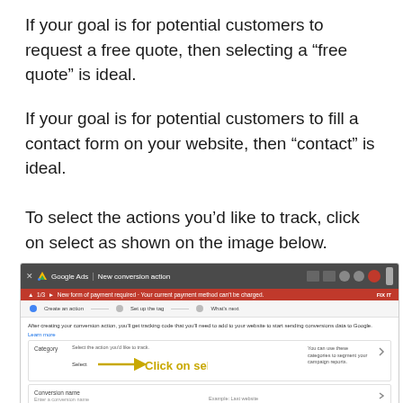If your goal is for potential customers to request a free quote, then selecting a “free quote” is ideal.
If your goal is for potential customers to fill a contact form on your website, then “contact” is ideal.
To select the actions you’d like to track, click on select as shown on the image below.
[Figure (screenshot): Screenshot of Google Ads interface showing the New conversion action page, with a Category field and a 'Select' dropdown highlighted by a yellow arrow labeled 'Click on select'.]